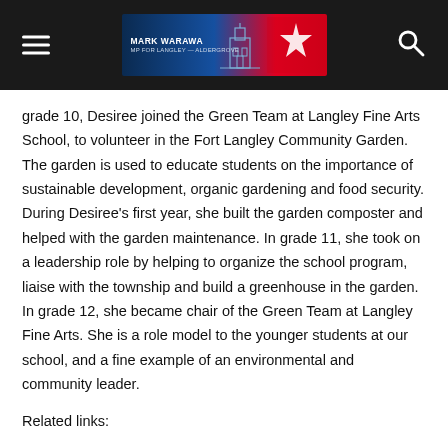Mark Warawa MP
grade 10, Desiree joined the Green Team at Langley Fine Arts School, to volunteer in the Fort Langley Community Garden. The garden is used to educate students on the importance of sustainable development, organic gardening and food security. During Desiree's first year, she built the garden composter and helped with the garden maintenance. In grade 11, she took on a leadership role by helping to organize the school program, liaise with the township and build a greenhouse in the garden. In grade 12, she became chair of the Green Team at Langley Fine Arts. She is a role model to the younger students at our school, and a fine example of an environmental and community leader.
Related links: